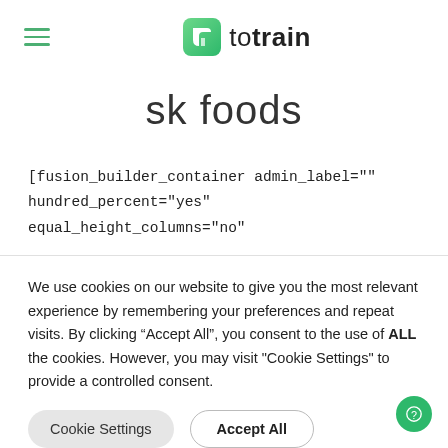totrain
sk foods
[fusion_builder_container admin_label="" hundred_percent="yes" equal_height_columns="no"
We use cookies on our website to give you the most relevant experience by remembering your preferences and repeat visits. By clicking “Accept All”, you consent to the use of ALL the cookies. However, you may visit "Cookie Settings" to provide a controlled consent.